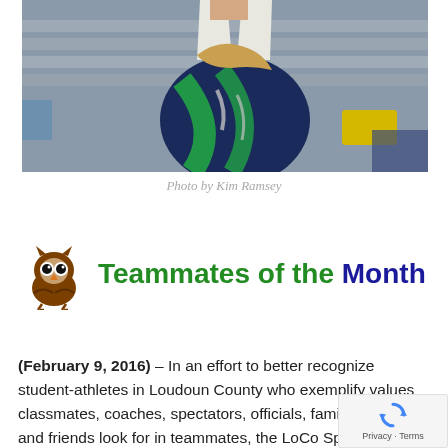[Figure (photo): A gymnast in a navy and green leotard with arms raised, performing a routine. Bleachers visible in background.]
Photo by Kim Ramsey
Teammates of the Month
(February 9, 2016) – In an effort to better recognize student-athletes in Loudoun County who exemplify values classmates, coaches, spectators, officials, family and friends look for in teammates, the LoCo Sports team has